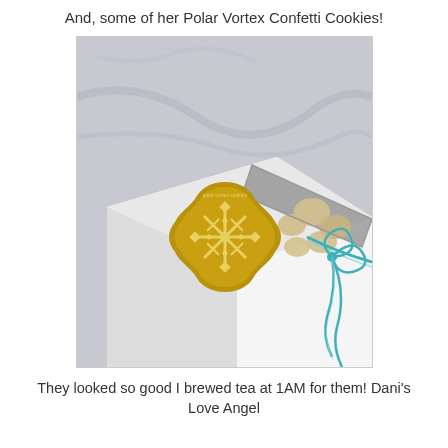And, some of her Polar Vortex Confetti Cookies!
[Figure (photo): A white cookie gift box with a gold snowflake emblem sticker/seal reading 'polar vortex cookies', tied with a teal/turquoise twine bow. The box has a clear window showing cookies inside, photographed on a marble surface.]
They looked so good I brewed tea at 1AM for them! Dani's Love Angel